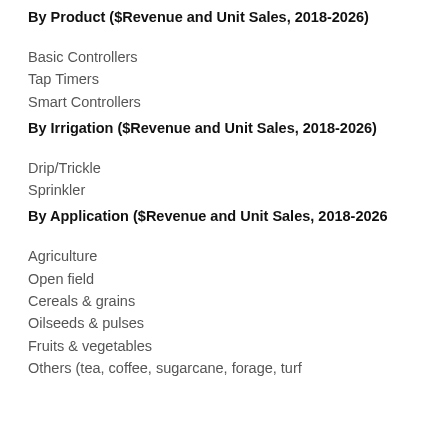By Product ($Revenue and Unit Sales, 2018-2026)
Basic Controllers
Tap Timers
Smart Controllers
By Irrigation ($Revenue and Unit Sales, 2018-2026)
Drip/Trickle
Sprinkler
By Application ($Revenue and Unit Sales, 2018-2026
Agriculture
Open field
Cereals & grains
Oilseeds & pulses
Fruits & vegetables
Others (tea, coffee, sugarcane, forage, turf